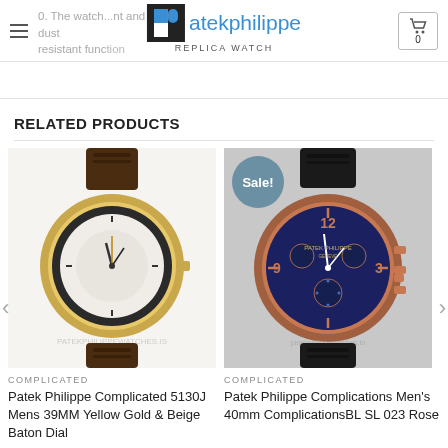atekphilippe REPLICA WATCH
0. The watch...nt and dust resistant function
RELATED PRODUCTS
[Figure (photo): Patek Philippe Complicated 5130J Mens 39MM Yellow Gold watch with brown leather strap and white world-time dial. Watermark: PATEKPHILIPPEWATCHES.IS]
COMPLICATED
Patek Philippe Complicated 5130J Mens 39MM Yellow Gold & Beige Baton Dial
[Figure (photo): Patek Philippe Complications Men's 40mm watch with blue chronograph dial, rose gold case, and black leather strap. Sale badge shown. Watermark: patekphilippewatches.to]
COMPLICATED
Patek Philippe Complications Men's 40mm ComplicationsBL SL 023 Rose